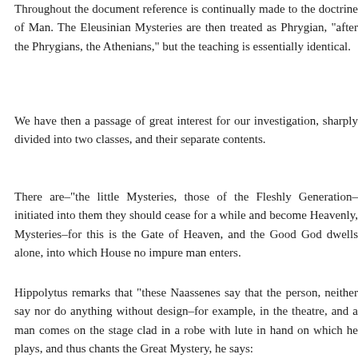Throughout the document reference is continually made to the doctrine of Man. The Eleusinian Mysteries are then treated as Phrygian, "after the Phrygians, the Athenians," but the teaching is essentially identical.
We have then a passage of great interest for our investigation, sharply divided into two classes, and their separate contents.
There are–"the little Mysteries, those of the Fleshly Generation–initiated into them they should cease for a while and become Heavenly, Mysteries–for this is the Gate of Heaven, and the Good God dwells alone, into which House no impure m...
Hippolytus remarks that "these Naassenes say that the pe... neither say nor do anything without design–for example, in the theatre, and a man comes on the stage clad in a robe... lute in hand on which he plays, and thus chants the Grea... he says:
'Whether blest Child of Kronos, or of Zeus, or o...